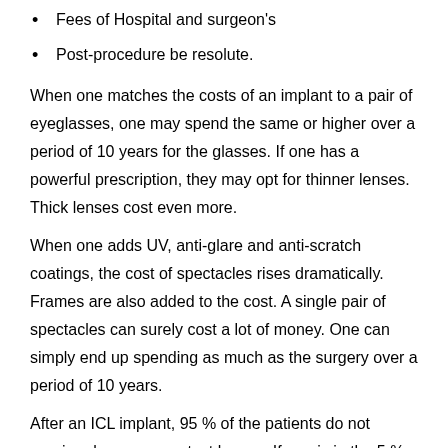Fees of Hospital and surgeon's
Post-procedure be resolute.
When one matches the costs of an implant to a pair of eyeglasses, one may spend the same or higher over a period of 10 years for the glasses. If one has a powerful prescription, they may opt for thinner lenses. Thick lenses cost even more.
When one adds UV, anti-glare and anti-scratch coatings, the cost of spectacles rises dramatically. Frames are also added to the cost. A single pair of spectacles can surely cost a lot of money. One can simply end up spending as much as the surgery over a period of 10 years.
After an ICL implant, 95 % of the patients do not require glasses or contact lenses. If one is in the 5 % of people who may require external vision aids after an ICL implant, there are methods to achieve good visual acuity. If one is over 45 years old, one requires reading glasses.